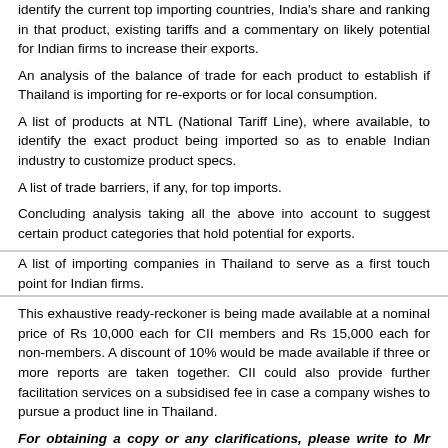identify the current top importing countries, India's share and ranking in that product, existing tariffs and a commentary on likely potential for Indian firms to increase their exports.
An analysis of the balance of trade for each product to establish if Thailand is importing for re-exports or for local consumption.
A list of products at NTL (National Tariff Line), where available, to identify the exact product being imported so as to enable Indian industry to customize product specs.
A list of trade barriers, if any, for top imports.
Concluding analysis taking all the above into account to suggest certain product categories that hold potential for exports.
A list of importing companies in Thailand to serve as a first touch point for Indian firms.
This exhaustive ready-reckoner is being made available at a nominal price of Rs 10,000 each for CII members and Rs 15,000 each for non-members. A discount of 10% would be made available if three or more reports are taken together. CII could also provide further facilitation services on a subsidised fee in case a company wishes to pursue a product line in Thailand.
For obtaining a copy or any clarifications, please write to Mr Neeraj Sharma at neeraj.sharma@cii.in